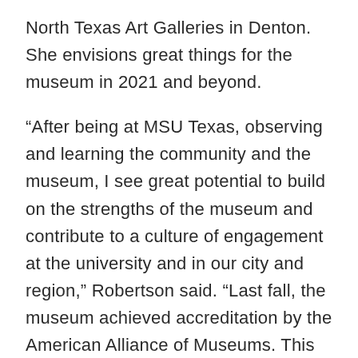North Texas Art Galleries in Denton. She envisions great things for the museum in 2021 and beyond.
“After being at MSU Texas, observing and learning the community and the museum, I see great potential to build on the strengths of the museum and contribute to a culture of engagement at the university and in our city and region,” Robertson said. “Last fall, the museum achieved accreditation by the American Alliance of Museums. This acknowledges that our talented team, our dedicated Museum Advisory Board members, and our collaborative partners continually strive for excellence within our field and in service to our audiences, in all that we do.”